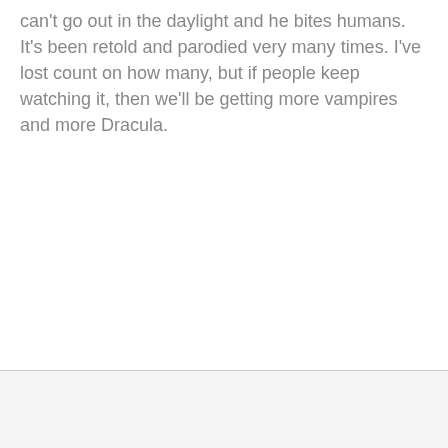can't go out in the daylight and he bites humans. It's been retold and parodied very many times. I've lost count on how many, but if people keep watching it, then we'll be getting more vampires and more Dracula.
[Figure (screenshot): Advertisement banner for Topgolf with logo, headline 'Perfect activity for everyone', brand name 'Topgolf', blue navigation arrow icon, play and close buttons]